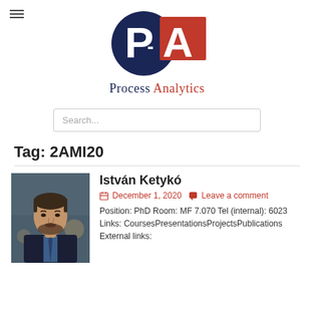[Figure (logo): Process Analytics logo with blue circle containing white P and red square containing white A, with text 'Process Analytics' below]
Search...
Tag: 2AMI20
[Figure (photo): Professional headshot of a bearded man in a dark suit with blue tie, indoor background]
István Ketykó
December 1, 2020   Leave a comment
Position: PhD Room: MF 7.070 Tel (internal): 6023 Links: CoursesPresentationsProjectsPublications External links: